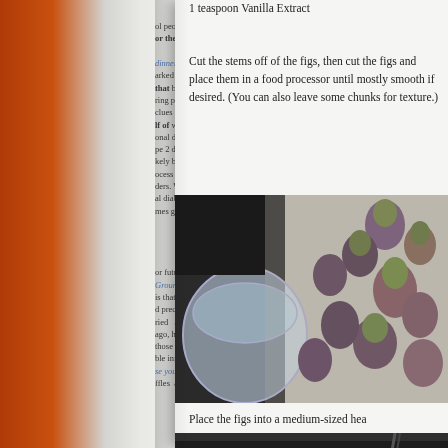1 teaspoon Vanilla Extract
Cut the stems off of the figs, then cut the figs and place them in a food processor until mostly smooth if desired. (You can also leave some chunks for texture.)
[Figure (photo): Photo of fresh figs scattered on a granite countertop next to a food processor bowl]
Place the figs into a medium-sized hea...
[Figure (photo): Photo of figs in a dark pot or pan on a stovetop, partially visible at bottom of page]